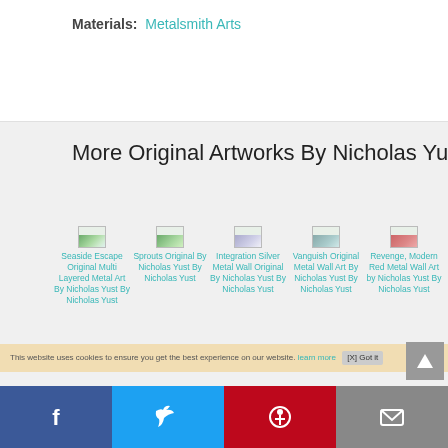Materials: Metalsmith Arts
More Original Artworks By Nicholas Yust
[Figure (screenshot): Grid of 5 artwork thumbnail images by Nicholas Yust: Seaside Escape Original Multi Layered Metal Art By Nicholas Yust By Nicholas Yust; Sprouts Original By Nicholas Yust By Nicholas Yust; Integration Silver Metal Wall Original By Nicholas Yust By Nicholas Yust; Vanguish Original Metal Wall Art By Nicholas Yust By Nicholas Yust; Revenge, Modern Red Metal Wall Art by Nicholas Yust By Nicholas Yust]
This website uses cookies to ensure you get the best experience on our website. learn more
Sprouts Original By Nicholas Yust
[Figure (screenshot): Social share bar with Facebook, Twitter, Pinterest, and Email buttons at the bottom of the page]